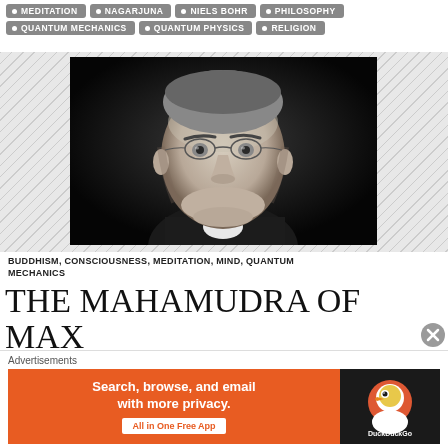MEDITATION
NAGARJUNA
NIELS BOHR
PHILOSOPHY
QUANTUM MECHANICS
QUANTUM PHYSICS
RELIGION
[Figure (photo): Black and white portrait photograph of an older gentleman with round wire-rimmed glasses and a mustache, wearing a suit]
BUDDHISM, CONSCIOUSNESS, MEDITATION, MIND, QUANTUM MECHANICS
THE MAHAMUDRA OF MAX
Advertisements
[Figure (other): DuckDuckGo advertisement banner: Search, browse, and email with more privacy. All in One Free App]